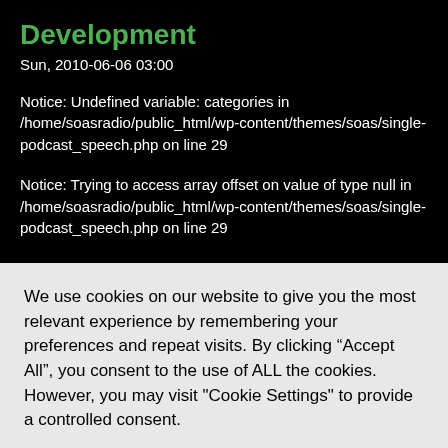Development
Sun, 2010-06-06 03:00
Notice: Undefined variable: categories in /home/soasradio/public_html/wp-content/themes/soas/single-podcast_speech.php on line 29
Notice: Trying to access array offset on value of type null in /home/soasradio/public_html/wp-content/themes/soas/single-podcast_speech.php on line 29
We use cookies on our website to give you the most relevant experience by remembering your preferences and repeat visits. By clicking “Accept All”, you consent to the use of ALL the cookies. However, you may visit "Cookie Settings" to provide a controlled consent.
Cookie Settings
Accept All